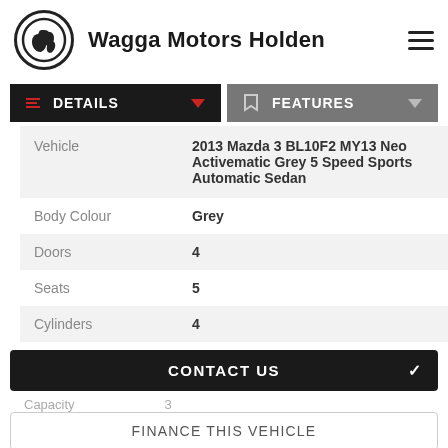Wagga Motors Holden
DETAILS
FEATURES
|  |  |
| --- | --- |
| Vehicle | 2013 Mazda 3 BL10F2 MY13 Neo Activematic Grey 5 Speed Sports Automatic Sedan |
| Body Colour | Grey |
| Doors | 4 |
| Seats | 5 |
| Cylinders | 4 |
CONTACT US
FINANCE THIS VEHICLE